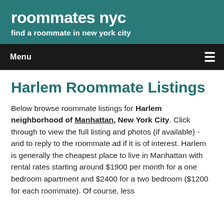roommates nyc
find a roommate in new york city
Menu
Harlem Roommate Listings
Below browse roommate listings for Harlem neighborhood of Manhattan, New York City. Click through to view the full listing and photos (if available) - and to reply to the roommate ad if it is of interest. Harlem is generally the cheapest place to live in Manhattan with rental rates starting around $1900 per month for a one bedroom apartment and $2400 for a two bedroom ($1200 for each roommate). Of course, less